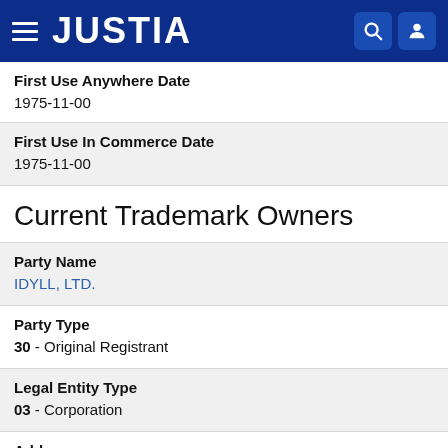JUSTIA
First Use Anywhere Date
1975-11-00
First Use In Commerce Date
1975-11-00
Current Trademark Owners
Party Name
IDYLL, LTD.
Party Type
30 - Original Registrant
Legal Entity Type
03 - Corporation
Address